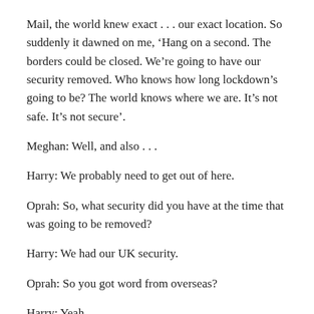Mail, the world knew exact . . . our exact location. So suddenly it dawned on me, ‘Hang on a second. The borders could be closed. We’re going to have our security removed. Who knows how long lockdown’s going to be? The world knows where we are. It’s not safe. It’s not secure’.
Meghan: Well, and also . . .
Harry: We probably need to get out of here.
Oprah: So, what security did you have at the time that was going to be removed?
Harry: We had our UK security.
Oprah: So you got word from overseas?
Harry: Yeah.
Oprah: Then the thing was — your security was going to be —